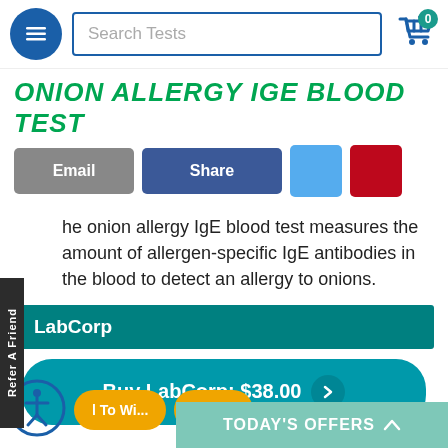Search Tests
ONION ALLERGY IGE BLOOD TEST
The onion allergy IgE blood test measures the amount of allergen-specific IgE antibodies in the blood to detect an allergy to onions.
LabCorp
Buy LabCorp: $38.00
TODAY'S OFFERS